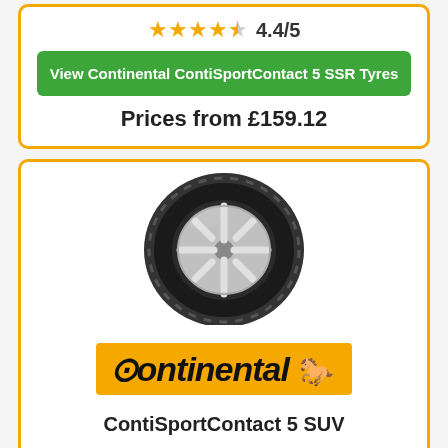[Figure (other): Star rating: 4 full stars and 1 half star, with rating text 4.4/5]
View Continental ContiSportContact 5 SSR Tyres
Prices from £159.12
[Figure (photo): Continental tyre product photo showing a black performance tire with silver alloy wheel]
[Figure (logo): Continental brand logo on orange background with horse icon]
ContiSportContact 5 SUV
[Figure (other): Partial star rating row at bottom]